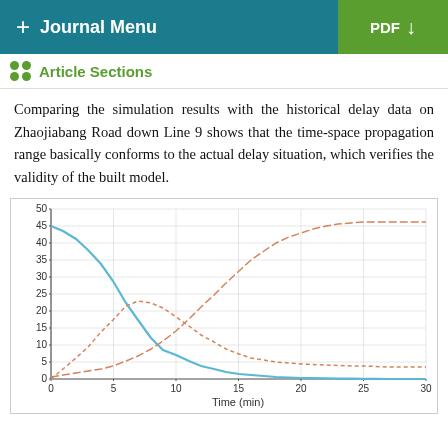+ Journal Menu | PDF
Article Sections
Comparing the simulation results with the historical delay data on Zhaojiabang Road down Line 9 shows that the time-space propagation range basically conforms to the actual delay situation, which verifies the validity of the built model.
[Figure (continuous-plot): A line chart showing three curves over Time (min) from 0 to 30 on the x-axis and 0 to 50 on the y-axis. A solid blue curve starts at ~45 and decreases to near 0. A dashed orange-red curve starts near 0, rises to a peak of ~23 around t=10, then decreases to near 5. A dashed orange curve starts near 0 and rises continuously to ~46 by t=30.]